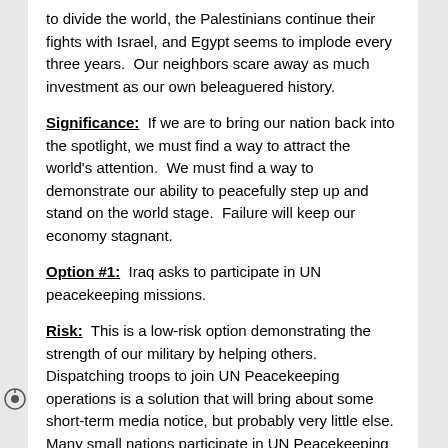to divide the world, the Palestinians continue their fights with Israel, and Egypt seems to implode every three years.  Our neighbors scare away as much investment as our own beleaguered history.
Significance:  If we are to bring our nation back into the spotlight, we must find a way to attract the world's attention.  We must find a way to demonstrate our ability to peacefully step up and stand on the world stage.  Failure will keep our economy stagnant.
Option #1:  Iraq asks to participate in UN peacekeeping missions.
Risk:  This is a low-risk option demonstrating the strength of our military by helping others.  Dispatching troops to join UN Peacekeeping operations is a solution that will bring about some short-term media notice, but probably very little else.  Many small nations participate in UN Peacekeeping simply as a way to earn money and help bankroll their own militaries.  There is no formalized training system for Peacekeepers,